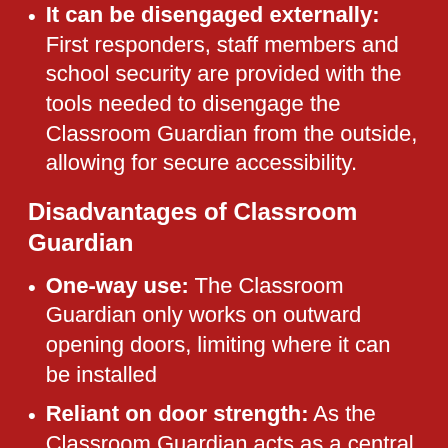It can be disengaged externally: First responders, staff members and school security are provided with the tools needed to disengage the Classroom Guardian from the outside, allowing for secure accessibility.
Disadvantages of Classroom Guardian
One-way use: The Classroom Guardian only works on outward opening doors, limiting where it can be installed
Reliant on door strength: As the Classroom Guardian acts as a central